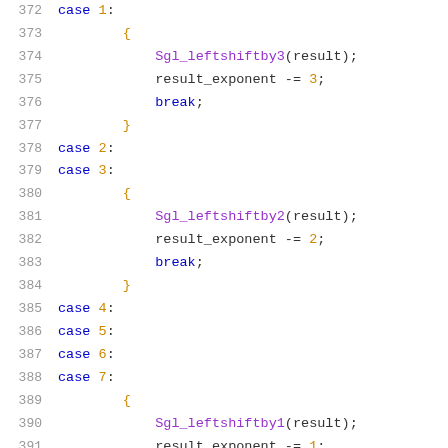372-392: Source code listing showing switch-case statements with Sgl_leftshiftby1/2/3 function calls and result_exponent adjustments